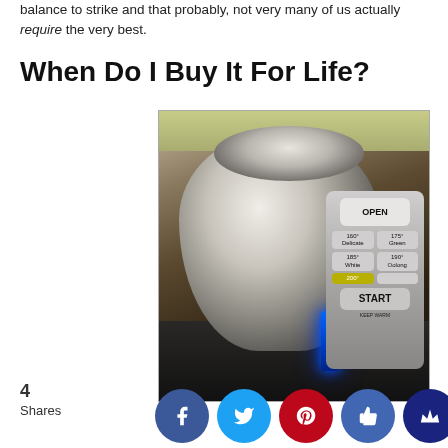balance to strike and that probably, not very many of us actually require the very best.
When Do I Buy It For Life?
[Figure (photo): A stainless steel Cuisinart electric kettle with digital temperature control panel showing OPEN button, temperature settings (160° Delicate, 175° Green, 185° White, 190° Oolong, 200°), and START button. Blue LED glow visible. Kettle is on a dark countertop.]
4
Shares